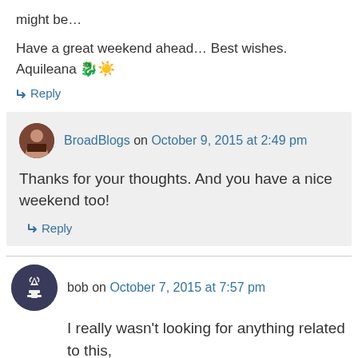might be…
Have a great weekend ahead… Best wishes. Aquileana 🐉☀️
↳ Reply
BroadBlogs on October 9, 2015 at 2:49 pm
Thanks for your thoughts. And you have a nice weekend too!
↳ Reply
bob on October 7, 2015 at 7:57 pm
I really wasn't looking for anything related to this,